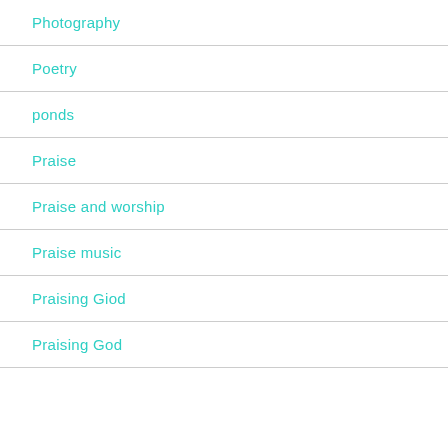Photography
Poetry
ponds
Praise
Praise and worship
Praise music
Praising Giod
Praising God